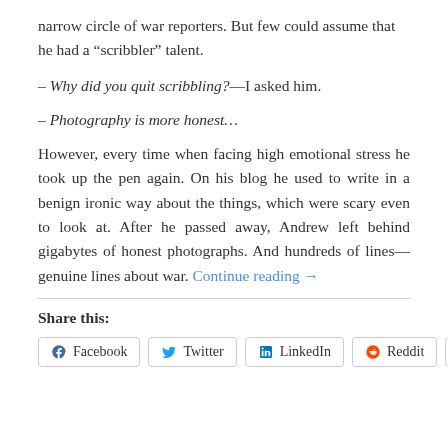narrow circle of war reporters. But few could assume that he had a “scribbler” talent.
– Why did you quit scribbling?—I asked him.
– Photography is more honest…
However, every time when facing high emotional stress he took up the pen again. On his blog he used to write in a benign ironic way about the things, which were scary even to look at. After he passed away, Andrew left behind gigabytes of honest photographs. And hundreds of lines—genuine lines about war. Continue reading →
Share this:
Facebook  Twitter  LinkedIn  Reddit  Email